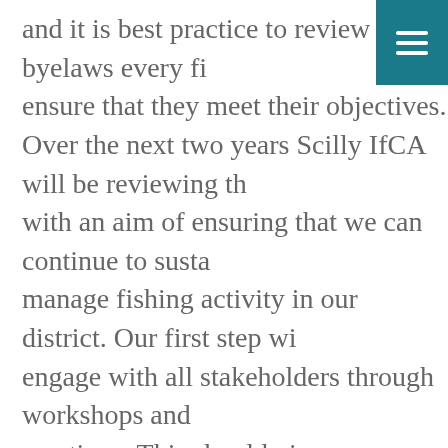and it is best practice to review byelaws every fi… ensure that they meet their objectives. Over the next two years Scilly IfCA will be reviewing th… with an aim of ensuring that we can continue to susta… manage fishing activity in our district. Our first step wi… engage with all stakeholders through workshops and… meetings. This should give us a clearer idea of how ou… can operate most effectively. We intend to build on our knowledge of catch landing… current market prices to have a better understanding… socio-economic value of fishing in Scilly. This would in… vessels that operate in Scilly and are based elsewher… also be gathering information on types of fishing that… in our district and where they overlap. With support from Cornwall IFCA we are going to carr… various subsea accoustic and video surveys which wil…